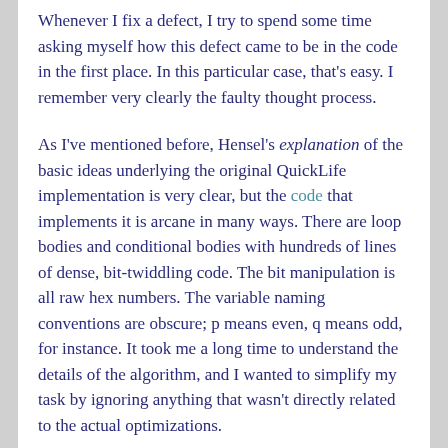Whenever I fix a defect, I try to spend some time asking myself how this defect came to be in the code in the first place. In this particular case, that's easy. I remember very clearly the faulty thought process.
As I've mentioned before, Hensel's explanation of the basic ideas underlying the original QuickLife implementation is very clear, but the code that implements it is arcane in many ways. There are loop bodies and conditional bodies with hundreds of lines of dense, bit-twiddling code. The bit manipulation is all raw hex numbers. The variable naming conventions are obscure; p means even, q means odd, for instance. It took me a long time to understand the details of the algorithm, and I wanted to simplify my task by ignoring anything that wasn't directly related to the actual optimizations.
One of the nice-to-have features of QuickLife (and several other algorithms we've looked at) that I did not spend any time in this series addressing is: because we have the previous and current states stored, you could easily add a handy 'listen backwards one tick' feature to the UI. And in